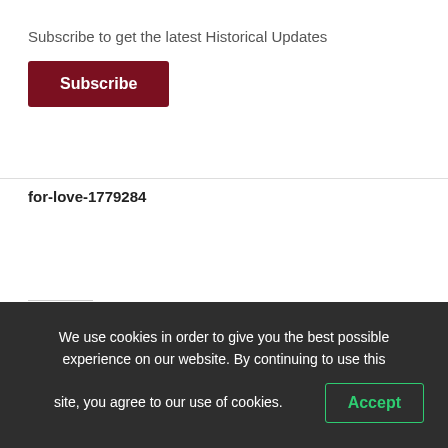Subscribe to get the latest Historical Updates
Subscribe
for-love-1779284
Like this:
Like
Be the first to like this.
We use cookies in order to give you the best possible experience on our website. By continuing to use this site, you agree to our use of cookies.
Accept